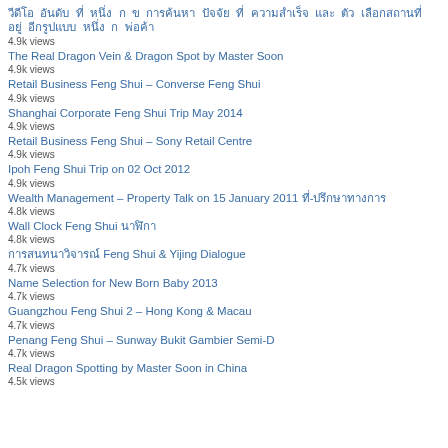[non-latin text] 4.9k views
The Real Dragon Vein & Dragon Spot by Master Soon
4.9k views
Retail Business Feng Shui – Converse Feng Shui
4.9k views
Shanghai Corporate Feng Shui Trip May 2014
4.9k views
Retail Business Feng Shui – Sony Retail Centre
4.9k views
Ipoh Feng Shui Trip on 02 Oct 2012
4.9k views
Wealth Management – Property Talk on 15 January 2011 [non-latin text]
4.8k views
Wall Clock Feng Shui [non-latin text]
4.8k views
[non-latin text] Feng Shui & Yijing Dialogue
4.7k views
Name Selection for New Born Baby 2013
4.7k views
Guangzhou Feng Shui 2 – Hong Kong & Macau
4.7k views
Penang Feng Shui – Sunway Bukit Gambier Semi-D
4.7k views
Real Dragon Spotting by Master Soon in China
4.5k views